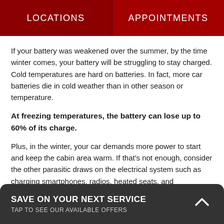LOCATIONS | APPOINTMENTS
If your battery was weakened over the summer, by the time winter comes, your battery will be struggling to stay charged. Cold temperatures are hard on batteries. In fact, more car batteries die in cold weather than in other season or temperature.
At freezing temperatures, the battery can lose up to 60% of its charge.
Plus, in the winter, your car demands more power to start and keep the cabin area warm. If that’s not enough, consider the other parasitic draws on the electrical system such as charging smartphones, radios, heated seats, and
SAVE ON YOUR NEXT SERVICE
TAP TO SEE OUR AVAILABLE OFFERS